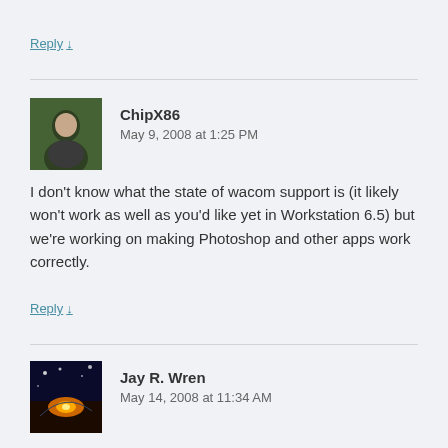Reply ↓
ChipX86
May 9, 2008 at 1:25 PM
I don't know what the state of wacom support is (it likely won't work as well as you'd like yet in Workstation 6.5) but we're working on making Photoshop and other apps work correctly.
Reply ↓
Jay R. Wren
May 14, 2008 at 11:34 AM